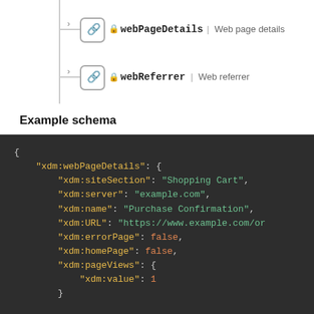[Figure (other): Schema tree diagram showing two child nodes: webPageDetails (Web page details) and webReferrer (Web referrer), each with a link icon and lock icon, connected by vertical and horizontal tree lines.]
Example schema
[Figure (screenshot): Dark-themed code block showing a JSON example schema with keys: xdm:webPageDetails containing xdm:siteSection (Shopping Cart), xdm:server (example.com), xdm:name (Purchase Confirmation), xdm:URL (https://www.example.com/or...), xdm:errorPage (false), xdm:homePage (false), xdm:pageViews containing xdm:value (1).]